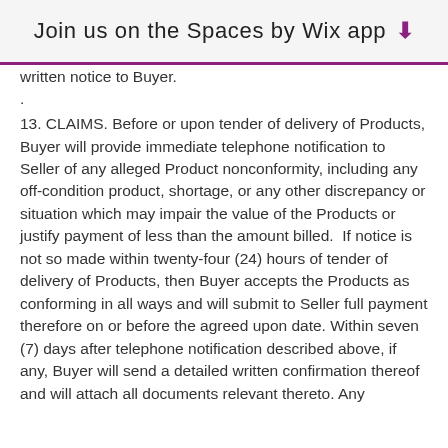Join us on the Spaces by Wix app ↓
written notice to Buyer.
.
13. CLAIMS. Before or upon tender of delivery of Products, Buyer will provide immediate telephone notification to Seller of any alleged Product nonconformity, including any off-condition product, shortage, or any other discrepancy or situation which may impair the value of the Products or justify payment of less than the amount billed. If notice is not so made within twenty-four (24) hours of tender of delivery of Products, then Buyer accepts the Products as conforming in all ways and will submit to Seller full payment therefore on or before the agreed upon date. Within seven (7) days after telephone notification described above, if any, Buyer will send a detailed written confirmation thereof and will attach all documents relevant thereto. Any